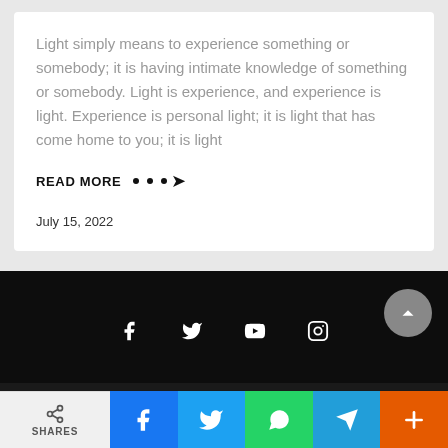Light simply means to experience something or somebody; it is having intimate knowledge of something or somebody. Light is experience, and experience is light. Experience is personal light; it is light that has come home to you; it is light
READ MORE ...→
July 15, 2022
[Figure (other): Black footer bar with social media icons: Facebook (f), Twitter (bird), YouTube (play button), Instagram (camera), and a scroll-to-top circular button]
[Figure (other): Share bar at bottom with: Shares (gray), Facebook (blue), Twitter (blue), WhatsApp (green), Telegram (blue), More/Plus (orange)]